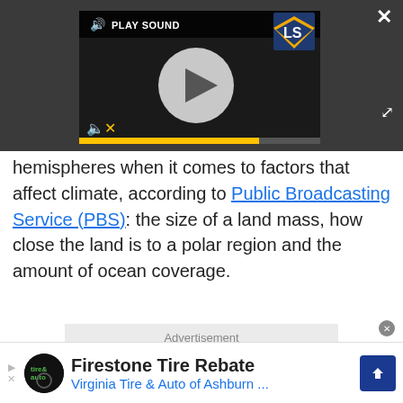[Figure (screenshot): Video player with dark background, play button circle, PLAY SOUND label, LS logo, mute icon, progress bar, close X button and expand icon]
hemispheres when it comes to factors that affect climate, according to Public Broadcasting Service (PBS): the size of a land mass, how close the land is to a polar region and the amount of ocean coverage.
[Figure (other): Advertisement placeholder box with 'Advertisement' label]
[Figure (other): Bottom banner ad: Firestone Tire Rebate - Virginia Tire & Auto of Ashburn ...]